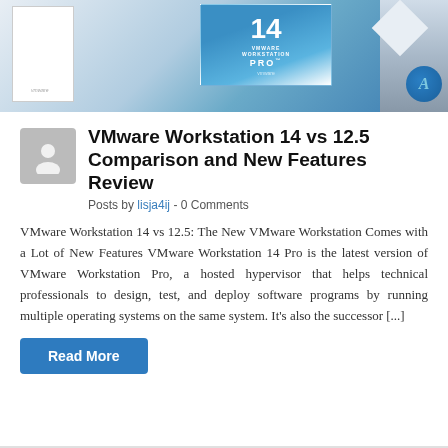[Figure (screenshot): Book cover image for VMware Workstation 14, showing blue geometric design with 'VMware Workstation Pro' text and a circular logo badge on the right side]
VMware Workstation 14 vs 12.5 Comparison and New Features Review
Posts by lisja4ij  -  0 Comments
VMware Workstation 14 vs 12.5: The New VMware Workstation Comes with a Lot of New Features VMware Workstation 14 Pro is the latest version of VMware Workstation Pro, a hosted hypervisor that helps technical professionals to design, test, and deploy software programs by running multiple operating systems on the same system. It’s also the successor [...]
Read More